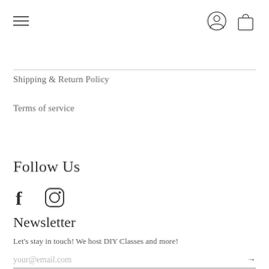Navigation bar with hamburger menu and user/cart icons
Shipping & Return Policy
Terms of service
Follow Us
[Figure (infographic): Facebook and Instagram social media icons]
Newsletter
Let's stay in touch! We host DIY Classes and more!
your@email.com